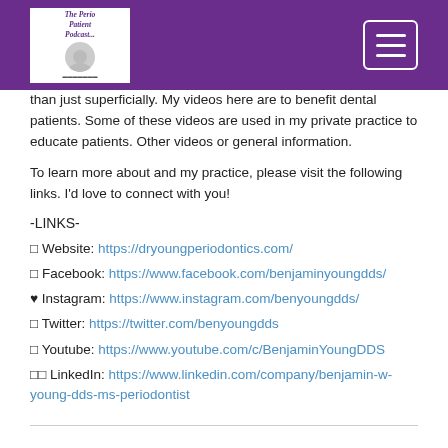The Perio Patient Podcast - header with logo and menu
than just superficially. My videos here are to benefit dental patients. Some of these videos are used in my private practice to educate patients. Other videos or general information.
To learn more about and my practice, please visit the following links. I'd love to connect with you!
-LINKS-
🌐 Website: https://dryoungperiodontics.com/
🌐 Facebook: https://www.facebook.com/benjaminyoungdds/
♥ Instagram: https://www.instagram.com/benyoungdds/
🌐 Twitter: https://twitter.com/benyoungdds
🌐 Youtube: https://www.youtube.com/c/BenjaminYoungDDS
🔲🔲 LinkedIn: https://www.linkedin.com/company/benjamin-w-young-dds-ms-periodontist